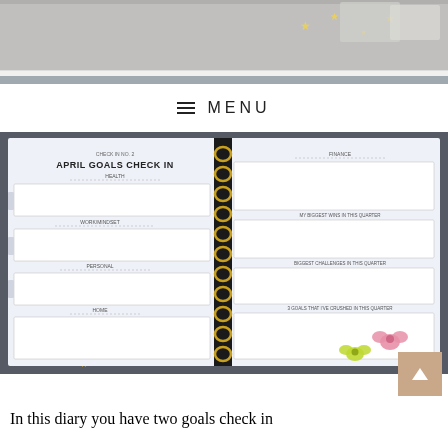[Figure (photo): Top portion of a photo showing a planner/notebook on a dark background with star decorations]
[Figure (photo): Open spiral-bound planner showing 'APRIL GOALS CHECK IN' page with sections for Health, Work/Mindset, Personal, Home on the left and Finance, goal-related questions on the right. Colorful ribbon bows and gold star decorations visible around the planner on a dark background.]
▲
In this diary you have two goals check in